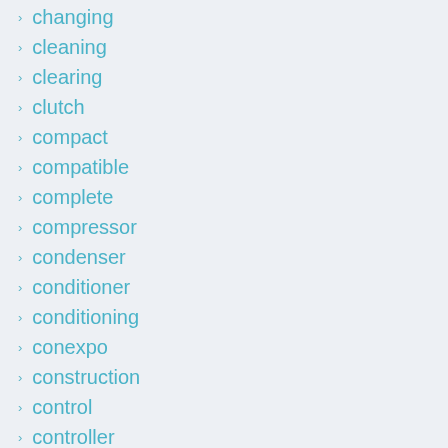changing
cleaning
clearing
clutch
compact
compatible
complete
compressor
condenser
conditioner
conditioning
conexpo
construction
control
controller
conversion
cooler
coupling
cover